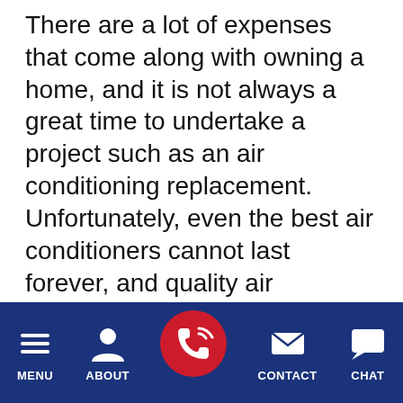There are a lot of expenses that come along with owning a home, and it is not always a great time to undertake a project such as an air conditioning replacement. Unfortunately, even the best air conditioners cannot last forever, and quality air conditioning in San Antonio really is a must. If you are considering an air conditioning replacement, contact the professional air conditioning technicians at Cowboys Air Conditioning & Heating. We are always happy to help you determine if you
MENU | ABOUT | [phone] | CONTACT | CHAT